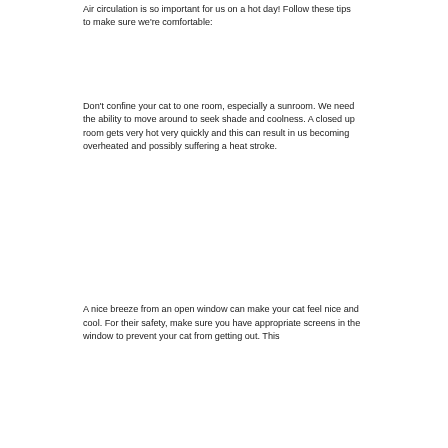Air circulation is so important for us on a hot day! Follow these tips to make sure we're comfortable:
Don't confine your cat to one room, especially a sunroom. We need the ability to move around to seek shade and coolness. A closed up room gets very hot very quickly and this can result in us becoming overheated and possibly suffering a heat stroke.
A nice breeze from an open window can make your cat feel nice and cool. For their safety, make sure you have appropriate screens in the window to prevent your cat from getting out. This